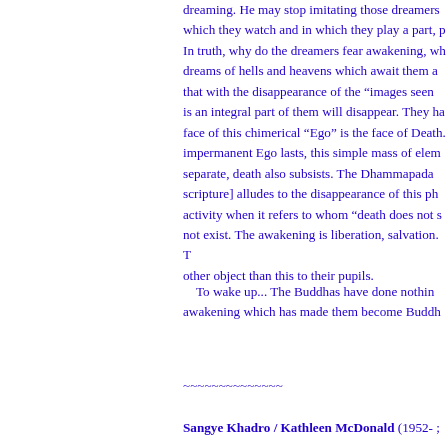On the other hand, the well-informed dreaming. He may stop imitating those dreamers which they watch and in which they play a part, p In truth, why do the dreamers fear awakening, wh dreams of hells and heavens which await them a that with the disappearance of the “images seen is an integral part of them will disappear. They ha face of this chimerical “Ego” is the face of Death. impermanent Ego lasts, this simple mass of elem separate, death also subsists. The Dhammapada scripture] alludes to the disappearance of this ph activity when it refers to whom “death does not s not exist. The awakening is liberation, salvation. T other object than this to their pupils.
To wake up... The Buddhas have done nothin awakening which has made them become Buddh
~~~~~~~~~~~~~~
Sangye Khadro / Kathleen McDonald (1952- ;